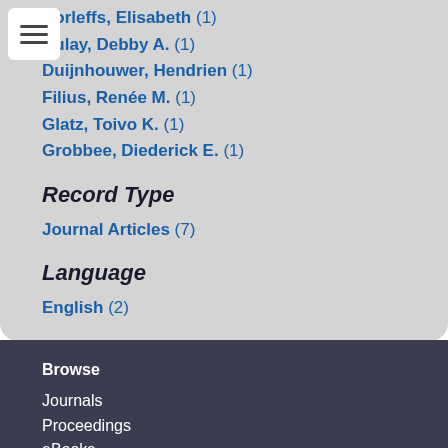Borleffs, Elisabeth (1)
Bulay, Debby A. (1)
Duijnhouwer, Hendrien (1)
Filius, Renée M. (1)
Glatz, Toivo K. (1)
Grobbee, Diederick E. (1)
Record Type
Journal Articles (7)
Language
English (2)
Browse
Journals
Proceedings
eBooks